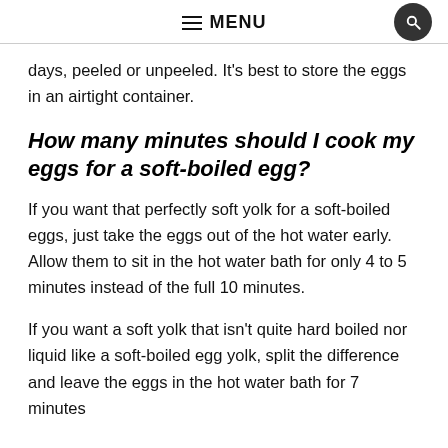MENU
days, peeled or unpeeled. It's best to store the eggs in an airtight container.
How many minutes should I cook my eggs for a soft-boiled egg?
If you want that perfectly soft yolk for a soft-boiled eggs, just take the eggs out of the hot water early. Allow them to sit in the hot water bath for only 4 to 5 minutes instead of the full 10 minutes.
If you want a soft yolk that isn't quite hard boiled nor liquid like a soft-boiled egg yolk, split the difference and leave the eggs in the hot water bath for 7 minutes